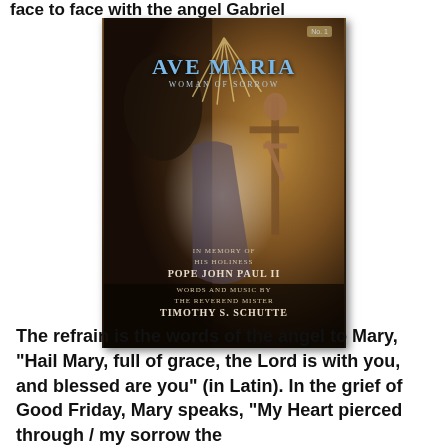face to face with the angel Gabriel
[Figure (photo): Book cover of 'Ave Maria: Woman of Sorrow' — a religious sheet music or book cover featuring a dark Renaissance-style painting of Mary at the crucifixion with an angel above, with text: AVE MARIA / WOMAN OF SORROW / IN MEMORY OF HIS HOLINESS / POPE JOHN PAUL II / WORDS AND MUSIC BY THE REVEREND MISTER / TIMOTHY S. SCHUTTE]
The refrain is the words of the angel to Mary, “Hail Mary, full of grace, the Lord is with you, and blessed are you” (in Latin). In the grief of Good Friday, Mary speaks, “My Heart pierced through / my sorrow the